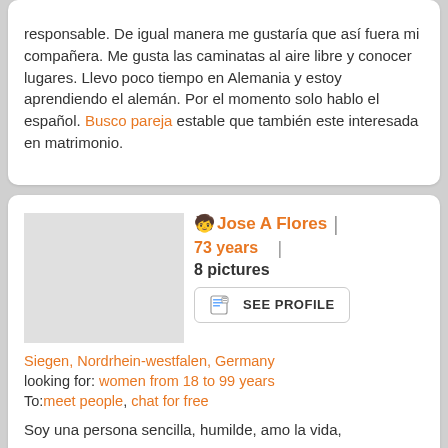responsable. De igual manera me gustaría que así fuera mi compañera. Me gusta las caminatas al aire libre y conocer lugares. Llevo poco tiempo en Alemania y estoy aprendiendo el alemán. Por el momento solo hablo el español. Busco pareja estable que también este interesada en matrimonio.
Jose A Flores | 73 years | 8 pictures
[Figure (other): SEE PROFILE button with document icon]
Siegen, Nordrhein-westfalen, Germany
looking for: women from 18 to 99 years
To: meet people, chat for free
Soy una persona sencilla, humilde, amo la vida,